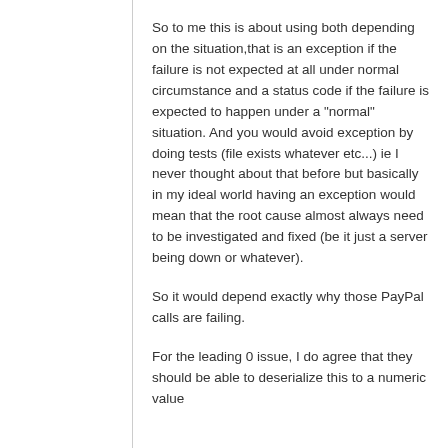So to me this is about using both depending on the situation,that is an exception if the failure is not expected at all under normal circumstance and a status code if the failure is expected to happen under a "normal" situation. And you would avoid exception by doing tests (file exists whatever etc...) ie I never thought about that before but basically in my ideal world having an exception would mean that the root cause almost always need to be investigated and fixed (be it just a server being down or whatever).
So it would depend exactly why those PayPal calls are failing.
For the leading 0 issue, I do agree that they should be able to deserialize this to a numeric value